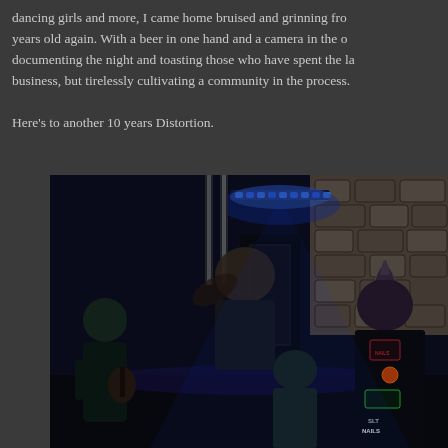dancing girls and more, I came home bruised and grinning from ear to ear, feeling 18 years old again. With a beer in one hand and a camera in the other, I spent the night documenting the night and toasting those who have spent the last 10 years not just running a business, but tirelessly cultivating a community in the process.

Here's to another 10 years Distortion.
[Figure (photo): Concert/punk show photo taken in a dark venue with blue neon lighting. Multiple people visible including someone in a punk leather jacket with patches (including 'NAILS' visible), people dancing or moshing, a stone wall in the background, and blue LED bar lights hanging from the ceiling.]